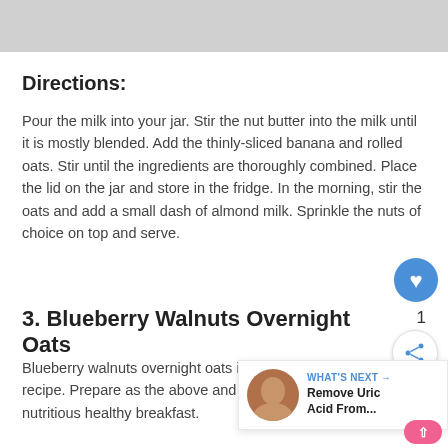[Figure (photo): Gray image bar at top of page (partial image visible)]
Directions:
Pour the milk into your jar. Stir the nut butter into the milk until it is mostly blended. Add the thinly-sliced banana and rolled oats. Stir until the ingredients are thoroughly combined. Place the lid on the jar and store in the fridge. In the morning, stir the oats and add a small dash of almond milk. Sprinkle the nuts of choice on top and serve.
3. Blueberry Walnuts Overnight Oats
Blueberry walnuts overnight oats is a delicious o... recipe. Prepare as the above and store in fridge... nutritious healthy breakfast.
[Figure (screenshot): What's Next overlay with thumbnail photo and text: Remove Uric Acid From...]